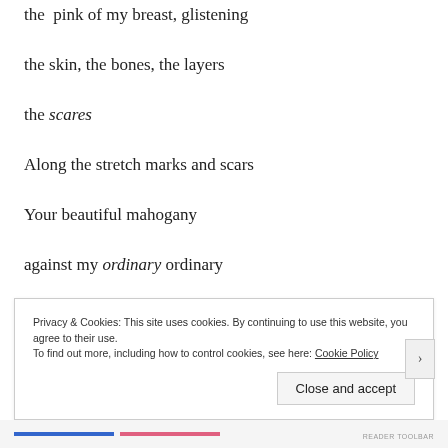the  pink of my breast, glistening
the skin, the bones, the layers
the scares
Along the stretch marks and scars
Your beautiful mahogany
against my ordinary ordinary
Privacy & Cookies: This site uses cookies. By continuing to use this website, you agree to their use.
To find out more, including how to control cookies, see here: Cookie Policy
Close and accept